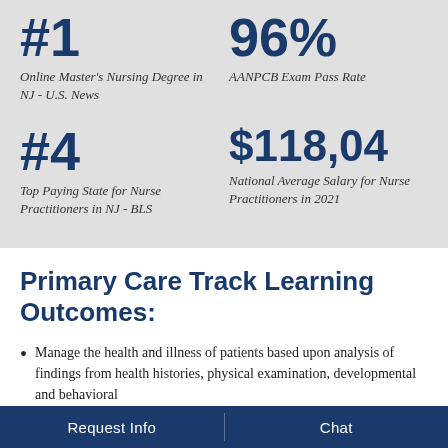#1
Online Master's Nursing Degree in NJ - U.S. News
96%
AANPCB Exam Pass Rate
#4
Top Paying State for Nurse Practitioners in NJ - BLS
$118,04
National Average Salary for Nurse Practitioners in 2021
Primary Care Track Learning Outcomes:
Manage the health and illness of patients based upon analysis of findings from health histories, physical examination, developmental and behavioral
Request Info | Chat